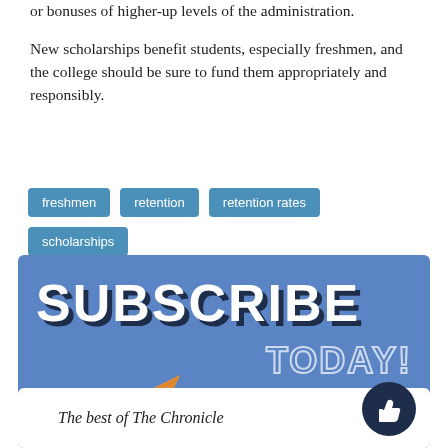or bonuses of higher-up levels of the administration.
New scholarships benefit students, especially freshmen, and the college should be sure to fund them appropriately and responsibly.
freshmen
retention
retention rates
scholarships
[Figure (infographic): Subscribe Today promotional banner with bold white text 'SUBSCRIBE' and outlined 'TODAY!' text on a blue background, with an orange paper airplane graphic and a white bottom section reading 'The best of The Chronicle' with a thumbs-up icon circle.]